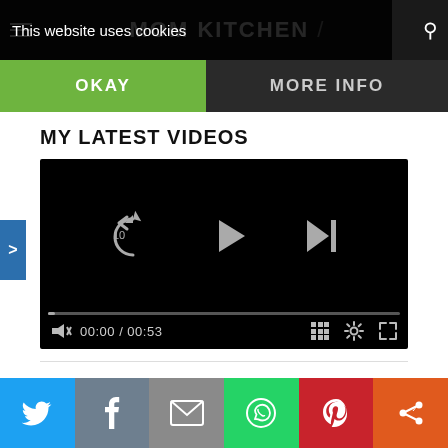This website uses cookies | MOM KITCHEN
OKAY
MORE INFO
MY LATEST VIDEOS
[Figure (screenshot): Video player showing paused state with replay-10, play, and skip-next controls. Progress bar at start. Time display shows 00:00 / 00:53. Controls include mute, grid, settings, and fullscreen icons.]
Social share bar: Twitter, Facebook, Email, WhatsApp, Pinterest, Other